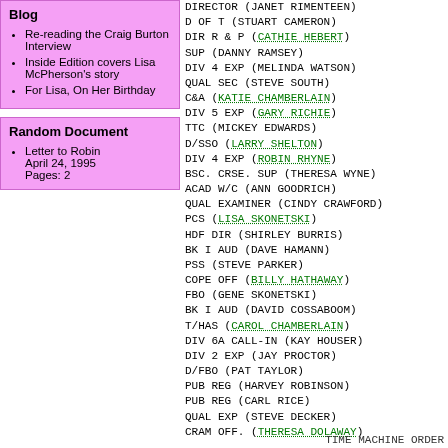Blog
Re-reading the Craig Burton Interview
Inside Edition covers Lisa McPherson's story
For Lisa, On Her Birthday
Random Document
Letter to Robin
April 24, 1995
Pages: 2
DIRECTOR (JANET RIMENTEEN)
D OF T (STUART CAMERON)
DIR R & P (CATHIE HEBERT)
SUP (DANNY RAMSEY)
DIV 4 EXP (MELINDA WATSON)
QUAL SEC (STEVE SOUTH)
C&A (KATIE CHAMBERLAIN)
DIV 5 EXP (GARY RICHIE)
TTC (MICKEY EDWARDS)
D/SSO (LARRY SHELTON)
DIV 4 EXP (ROBIN RHYNE)
BSC. CRSE. SUP (THERESA WYNE)
ACAD W/C (ANN GOODRICH)
QUAL EXAMINER (CINDY CRAWFORD)
PCS (LISA SKONETSKI)
HDF DIR (SHIRLEY BURRIS)
BK I AUD (DAVE HAMANN)
PSS (STEVE PARKER)
COPE OFF (BILLY HATHAWAY)
FBO (GENE SKONETSKI)
BK I AUD (DAVID COSSABOOM)
T/HAS (CAROL CHAMBERLAIN)
DIV 6A CALL-IN (KAY HOUSER)
DIV 2 EXP (JAY PROCTOR)
D/FBO (PAT TAYLOR)
PUB REG (HARVEY ROBINSON)
PUB REG (CARL RICE)
QUAL EXP (STEVE DECKER)
CRAM OFF. (THERESA DOLAWAY)
TIME MACHINE ORDER